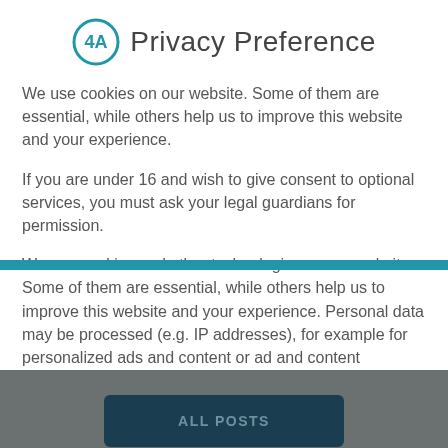Privacy Preference
We use cookies on our website. Some of them are essential, while others help us to improve this website and your experience.
If you are under 16 and wish to give consent to optional services, you must ask your legal guardians for permission.
We use cookies and other technologies on our website. Some of them are essential, while others help us to improve this website and your experience. Personal data may be processed (e.g. IP addresses), for example for personalized ads and content or ad and content measurement. You can find more information about the use of your data in our privacy policy. You can revoke or
Essential
External Media
ALL POSTS